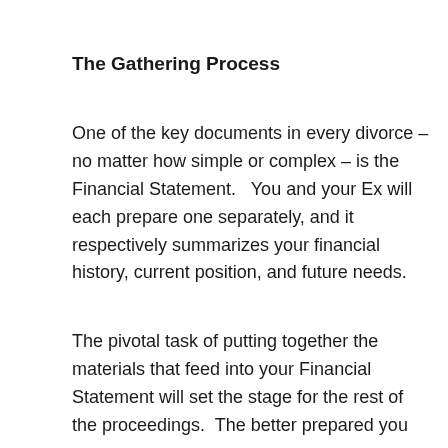The Gathering Process
One of the key documents in every divorce – no matter how simple or complex – is the Financial Statement.   You and your Ex will each prepare one separately, and it respectively summarizes your financial history, current position, and future needs.
The pivotal task of putting together the materials that feed into your Financial Statement will set the stage for the rest of the proceedings.  The better prepared you